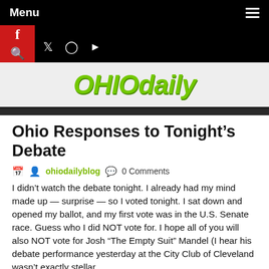Menu
[Figure (screenshot): Website navigation bar with Menu text, hamburger icon, social media icons (Facebook, Twitter, Instagram, YouTube), and red search button on black background]
OHIOdaily
Ohio Responses to Tonight's Debate
ohiodailyblog  0 Comments
I didn't watch the debate tonight. I already had my mind made up — surprise — so I voted tonight. I sat down and opened my ballot, and my first vote was in the U.S. Senate race. Guess who I did NOT vote for. I hope all of you will also NOT vote for Josh “The Empty Suit” Mandel (I hear his debate performance yesterday at the City Club of Cleveland wasn’t exactly stellar